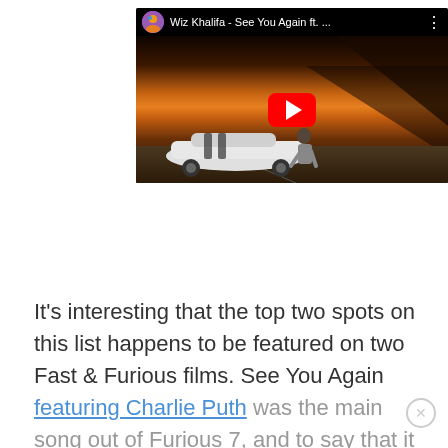[Figure (screenshot): YouTube video thumbnail for 'Wiz Khalifa - See You Again ft. ...' showing a white sports car with black stripes on a road at sunset, with a person sitting on the car. A red YouTube play button is centered on the image.]
It's interesting that the top two spots on this list happens to be featured on two Fast & Furious films. See You Again featuring Charlie Puth was the main song out of Furious 7, and to say that it